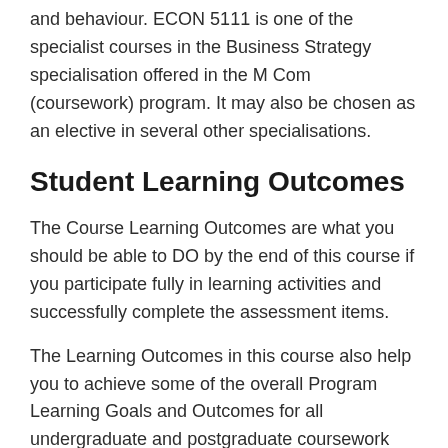and behaviour. ECON 5111 is one of the specialist courses in the Business Strategy specialisation offered in the M Com (coursework) program. It may also be chosen as an elective in several other specialisations.
Student Learning Outcomes
The Course Learning Outcomes are what you should be able to DO by the end of this course if you participate fully in learning activities and successfully complete the assessment items.
The Learning Outcomes in this course also help you to achieve some of the overall Program Learning Goals and Outcomes for all undergraduate and postgraduate coursework